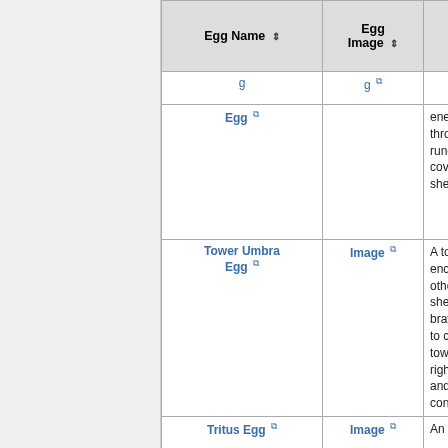| Egg Name | Egg Image | Larry Loo Lexicon Description |
| --- | --- | --- |
| Egg [link] | [partial row] | energy o through rune sto covering shell. |
| Tower Umbra Egg [link] | Image [link] | A tough encaseo otherwo shell. Th brave e to challe tower ea right to and its contents |
| Tritus Egg [link] | Image [link] | An egg... |